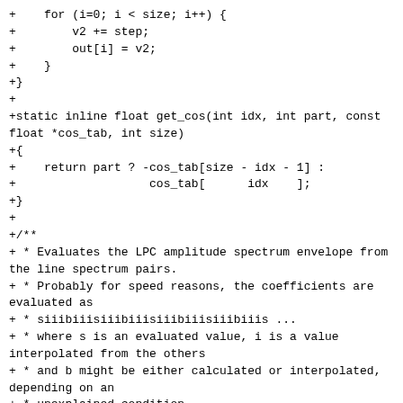+    for (i=0; i < size; i++) {
+        v2 += step;
+        out[i] = v2;
+    }
+}
+
+static inline float get_cos(int idx, int part, const float *cos_tab, int size)
+{
+    return part ? -cos_tab[size - idx - 1] :
+                   cos_tab[      idx    ];
+}
+
+/**
+ * Evaluates the LPC amplitude spectrum envelope from the line spectrum pairs.
+ * Probably for speed reasons, the coefficients are evaluated as
+ * siiibiiisiiibiiisiiibiiisiiibiiis ...
+ * where s is an evaluated value, i is a value interpolated from the others
+ * and b might be either calculated or interpolated, depending on an
+ * unexplained condition.
+ *
+ * @param step the size of a block "siiiibiiii"
+ * @param in the cosinus of the LSP data
+ * @param part is 0 for 0...PI (positive cossinus values) and 1 for PI...2PI
+             (negative cossinus values)